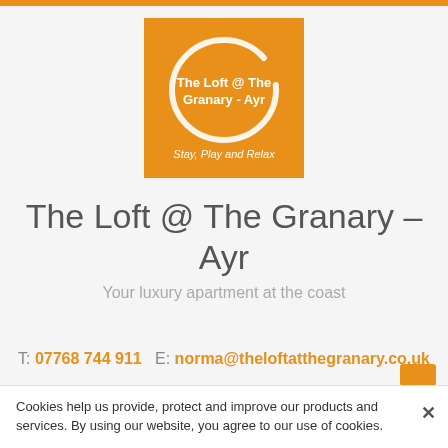[Figure (logo): Orange square logo with white circular brushstroke and text 'The Loft @ The Granary - Ayr' and tagline 'Stay, Play and Relax']
The Loft @ The Granary – Ayr
Your luxury apartment at the coast
T: 07768 744 911   E: norma@theloftatthegranary.co.uk
Cookies help us provide, protect and improve our products and services. By using our website, you agree to our use of cookies.